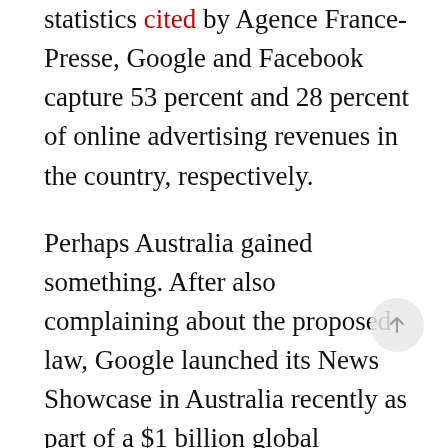statistics cited by Agence France-Presse, Google and Facebook capture 53 percent and 28 percent of online advertising revenues in the country, respectively.
Perhaps Australia gained something. After also complaining about the proposed law, Google launched its News Showcase in Australia recently as part of a $1 billion global initiative to pay media outlets, reported NBC. Critics at the Guardian argued that this money